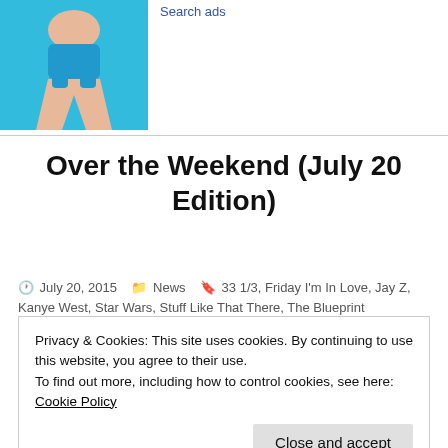[Figure (photo): Partial photo of a person in a blue swimsuit against a blue background, cropped at torso/hips. Adjacent blue hyperlink text 'Search ads' visible to the right.]
Over the Weekend (July 20 Edition)
July 20, 2015   News   33 1/3, Friday I'm In Love, Jay Z, Kanye West, Star Wars, Stuff Like That There, The Blueprint
Privacy & Cookies: This site uses cookies. By continuing to use this website, you agree to their use.
To find out more, including how to control cookies, see here: Cookie Policy
Close and accept